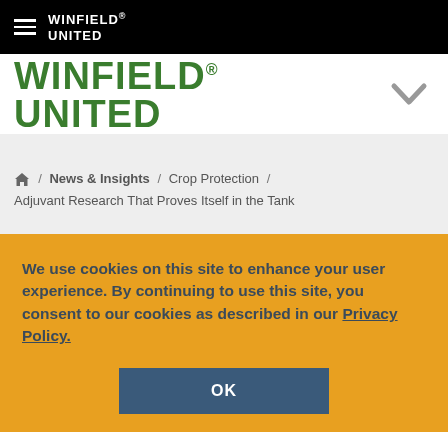WinField United
[Figure (logo): WinField United green logo with registered trademark symbol and grey chevron/dropdown arrow]
Home / News & Insights / Crop Protection / Adjuvant Research That Proves Itself in the Tank
We use cookies on this site to enhance your user experience. By continuing to use this site, you consent to our cookies as described in our Privacy Policy.
OK